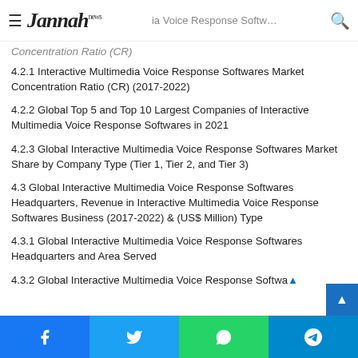Jannah news — Interactive Multimedia Voice Response Software
Concentration Ratio (CR)
4.2.1 Interactive Multimedia Voice Response Softwares Market Concentration Ratio (CR) (2017-2022)
4.2.2 Global Top 5 and Top 10 Largest Companies of Interactive Multimedia Voice Response Softwares in 2021
4.2.3 Global Interactive Multimedia Voice Response Softwares Market Share by Company Type (Tier 1, Tier 2, and Tier 3)
4.3 Global Interactive Multimedia Voice Response Softwares Headquarters, Revenue in Interactive Multimedia Voice Response Softwares Business (2017-2022) & (US$ Million) Type
4.3.1 Global Interactive Multimedia Voice Response Softwares Headquarters and Area Served
4.3.2 Global Interactive Multimedia Voice Response Softwa...
Facebook Twitter WhatsApp Telegram